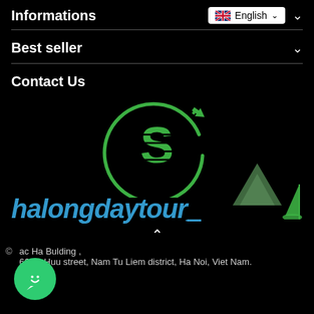Informations
Best seller
Contact Us
[Figure (logo): Halongdaytour logo: green circular arc with airplane, green stylized S letter in center, blue italic text 'halongdaytour' with mountain and boat illustration on black background]
© ... ac Ha Bulding , 66 To Huu street, Nam Tu Liem district, Ha Noi, Viet Nam.